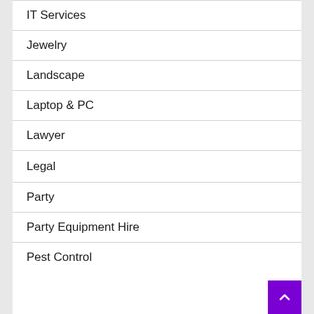IT Services
Jewelry
Landscape
Laptop & PC
Lawyer
Legal
Party
Party Equipment Hire
Pest Control